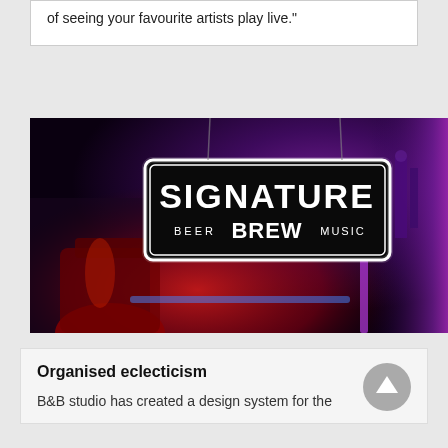of seeing your favourite artists play live."
[Figure (photo): Photo of a neon sign reading 'SIGNATURE BEER BREW MUSIC' hanging in a dark, purple-lit space with brewing equipment in the foreground.]
Organised eclecticism
B&B studio has created a design system for the